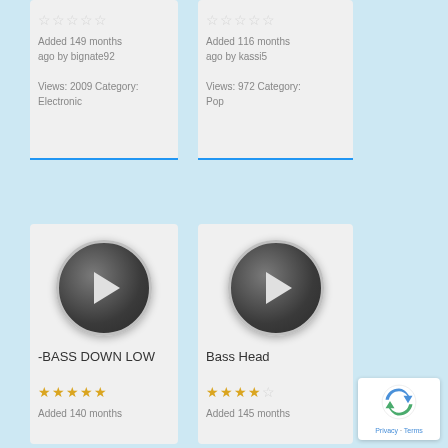[Figure (screenshot): Top-left music card showing empty star rating, 'Added 149 months ago by bignate92', 'Views: 2009 Category: Electronic']
[Figure (screenshot): Top-right music card showing empty star rating, 'Added 116 months ago by kassi5', 'Views: 972 Category: Pop']
[Figure (screenshot): Bottom-left music card with play button, song title '-BASS DOWN LOW', 5 star rating, 'Added 140 months']
[Figure (screenshot): Bottom-right music card with play button, song title 'Bass Head', 4 star rating, 'Added 145 months']
[Figure (logo): reCAPTCHA badge with Privacy · Terms links]